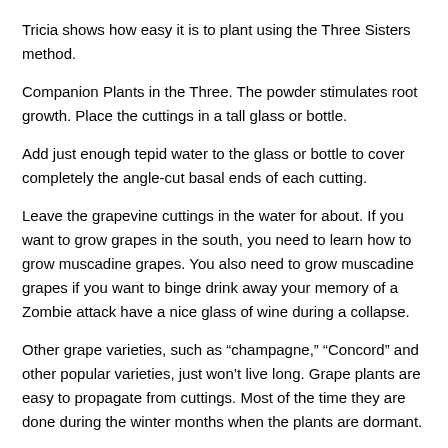Tricia shows how easy it is to plant using the Three Sisters method.
Companion Plants in the Three. The powder stimulates root growth. Place the cuttings in a tall glass or bottle.
Add just enough tepid water to the glass or bottle to cover completely the angle-cut basal ends of each cutting.
Leave the grapevine cuttings in the water for about. If you want to grow grapes in the south, you need to learn how to grow muscadine grapes. You also need to grow muscadine grapes if you want to binge drink away your memory of a Zombie attack have a nice glass of wine during a collapse.
Other grape varieties, such as “champagne,” “Concord” and other popular varieties, just won’t live long. Grape plants are easy to propagate from cuttings. Most of the time they are done during the winter months when the plants are dormant.
Cuttings taken in the late fall and winter are known as hardwood cuttings because just as it sounds, the wood is much harder during the